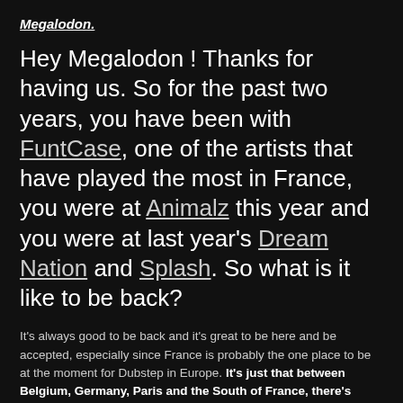Megalodon.
Hey Megalodon ! Thanks for having us. So for the past two years, you have been with FuntCase, one of the artists that have played the most in France, you were at Animalz this year and you were at last year's Dream Nation and Splash. So what is it like to be back?
It's always good to be back and it's great to be here and be accepted, especially since France is probably the one place to be at the moment for Dubstep in Europe. It's just that between Belgium, Germany, Paris and the South of France, there's some kind of battle to figure out who's got the best club and France definitely is in the driving